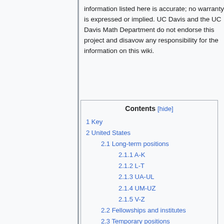information listed here is accurate; no warranty is expressed or implied. UC Davis and the UC Davis Math Department do not endorse this project and disavow any responsibility for the information on this wiki.
1 Key
2 United States
2.1 Long-term positions
2.1.1 A-K
2.1.2 L-T
2.1.3 UA-UL
2.1.4 UM-UZ
2.1.5 V-Z
2.2 Fellowships and institutes
2.3 Temporary positions
2.3.1 A-K
2.3.2 L-T
2.3.3 UA-UL
2.3.4 UM-UZ
2.3.5 V-Z